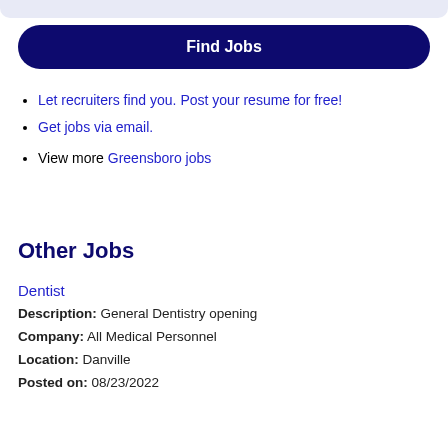Find Jobs
Let recruiters find you. Post your resume for free!
Get jobs via email.
View more Greensboro jobs
Other Jobs
Dentist
Description: General Dentistry opening
Company: All Medical Personnel
Location: Danville
Posted on: 08/23/2022